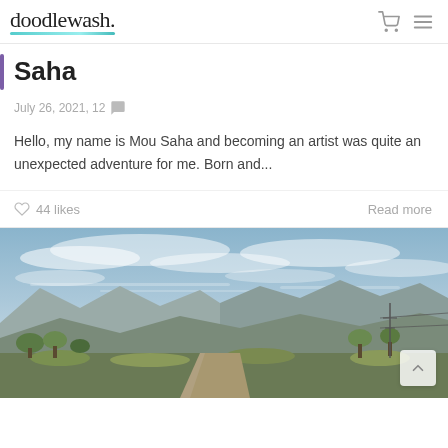doodlewash.
Saha
July 26, 2021, 12 💬
Hello, my name is Mou Saha and becoming an artist was quite an unexpected adventure for me. Born and...
44 likes   Read more
[Figure (photo): Landscape photo showing a dirt road winding through a valley with hills and mountains in the background under a partly cloudy sky, with green shrubs and trees visible.]